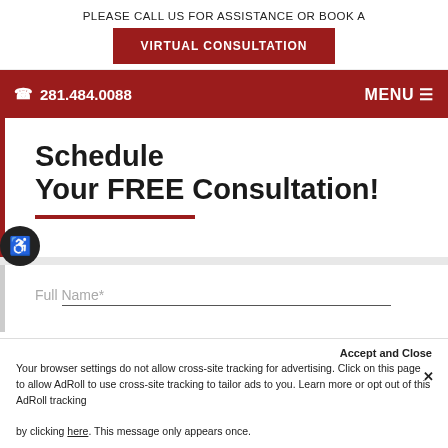PLEASE CALL US FOR ASSISTANCE OR BOOK A
VIRTUAL CONSULTATION
☎ 281.484.0088
MENU ☰
Schedule Your FREE Consultation!
Full Name*
Accept and Close
Your browser settings do not allow cross-site tracking for advertising. Click on this page to allow AdRoll to use cross-site tracking to tailor ads to you. Learn more or opt out of this AdRoll tracking by clicking here. This message only appears once.